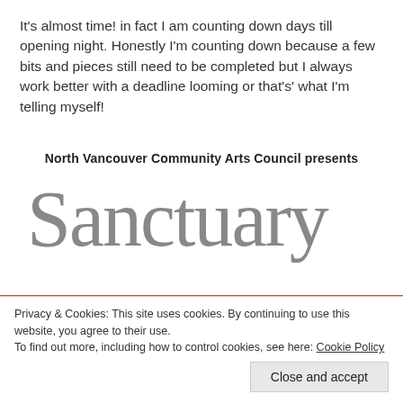It's almost time! in fact I am counting down days till opening night. Honestly I'm counting down because a few bits and pieces still need to be completed but I always work better with a deadline looming or that's' what I'm telling myself!
North Vancouver Community Arts Council presents
[Figure (illustration): Large grey text 'Sanctuary' with an orange horizontal bar and black band below containing white text 'Re-examining the Nest']
Privacy & Cookies: This site uses cookies. By continuing to use this website, you agree to their use.
To find out more, including how to control cookies, see here: Cookie Policy
Close and accept